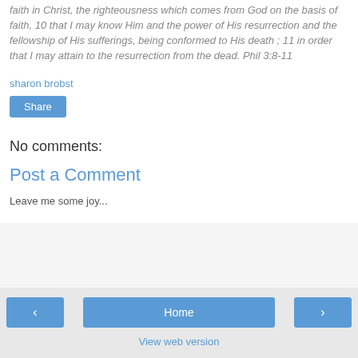faith in Christ, the righteousness which comes from God on the basis of faith, 10 that I may know Him and the power of His resurrection and the fellowship of His sufferings, being conformed to His death ; 11 in order that I may attain to the resurrection from the dead. Phil 3:8-11
sharon brobst
Share
No comments:
Post a Comment
Leave me some joy...
< Home > View web version